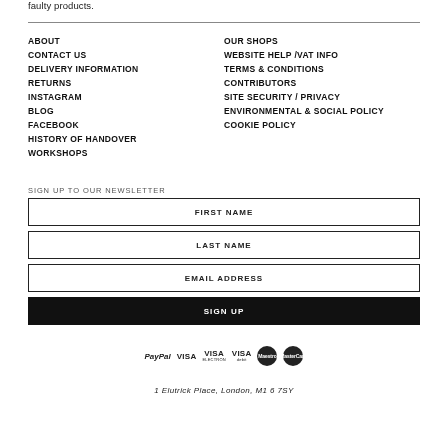faulty products.
ABOUT
CONTACT US
DELIVERY INFORMATION
RETURNS
INSTAGRAM
BLOG
FACEBOOK
HISTORY OF HANDOVER
WORKSHOPS
OUR SHOPS
WEBSITE HELP /VAT INFO
TERMS & CONDITIONS
CONTRIBUTORS
SITE SECURITY / PRIVACY
ENVIRONMENTAL & SOCIAL POLICY
COOKIE POLICY
SIGN UP TO OUR NEWSLETTER
FIRST NAME
LAST NAME
EMAIL ADDRESS
SIGN UP
[Figure (infographic): Payment method logos: PayPal, VISA, VISA Electron, VISA Debit, Maestro, MasterCard]
1 Elutrick Place, London, M1 6 7SY